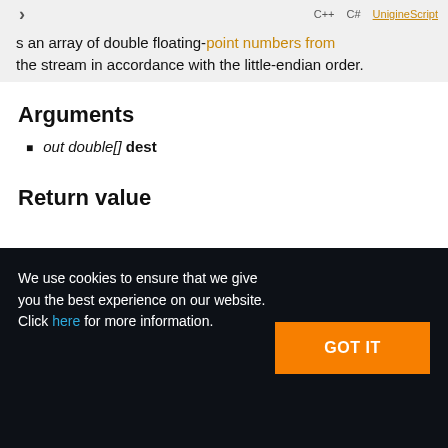s an array of double floating-point numbers from the stream in accordance with the little-endian order.
Arguments
out double[] dest
Return value
We use cookies to ensure that we give you the best experience on our website. Click here for more information.